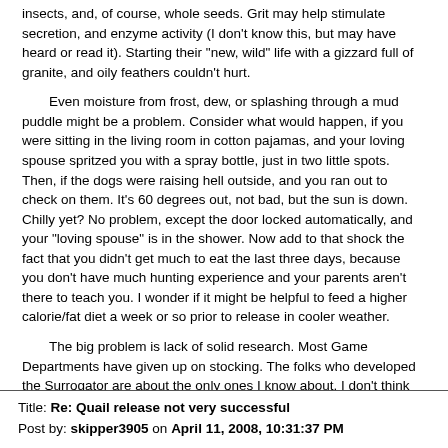insects, and, of course, whole seeds.  Grit may help stimulate secretion, and enzyme activity (I don't know this, but may have heard or read it).  Starting their "new, wild" life with a gizzard full of granite, and oily feathers couldn't hurt.
Even moisture from frost, dew, or splashing through a mud puddle might be a problem.  Consider what would happen, if you were sitting in the living room in cotton pajamas, and your loving spouse spritzed you with a spray bottle, just in two little spots.  Then, if the dogs were raising hell outside, and you ran out to check on them.  It's 60 degrees out, not bad, but the sun is down.  Chilly yet?  No problem, except the door locked automatically, and your "loving spouse" is in the shower.  Now add to that shock the fact that you didn't get much to eat the last three days, because you don't have much hunting experience and your parents aren't there to teach you.  I wonder if it might be helpful to feed a higher calorie/fat diet a week or so prior to release in cooler weather.
The big problem is lack of solid research.  Most Game Departments have given up on stocking.  The folks who developed the Surrogator are about the only ones I know about.  I don't think they have suggested misting, or dust baths, but it has to help.  I know it does when raising to adulthood, for training, or field trial.
Title: Re: Quail release not very successful
Post by: skipper3905 on April 11, 2008, 10:31:37 PM